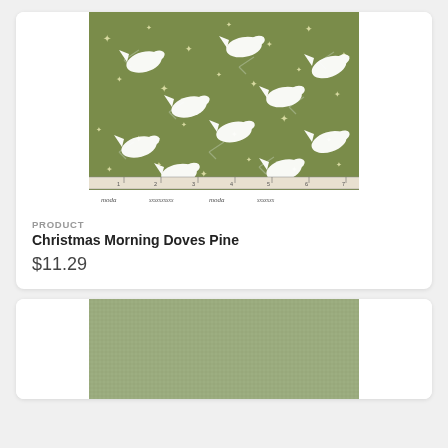[Figure (photo): Fabric swatch of Christmas Morning Doves Pine — olive/sage green fabric with white doves, sparkle stars, and grey-green leaf sprigs, with a ruler strip along the bottom edge showing inch measurements 1–7, and 'moda' script text along the ruler.]
PRODUCT
Christmas Morning Doves Pine
$11.29
[Figure (photo): Fabric swatch showing a plain sage/olive green textured fabric (solid color).]